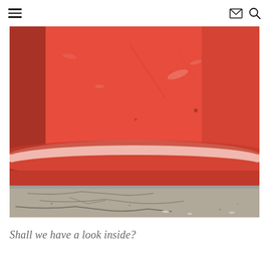≡  ✉ 🔍
[Figure (photo): Close-up photograph of a red fire hydrant base showing the curved bottom edge with a lighter pink accent stripe, resting on cracked asphalt/concrete ground. The red paint is weathered with white scuff marks and scratches.]
Shall we have a look inside?